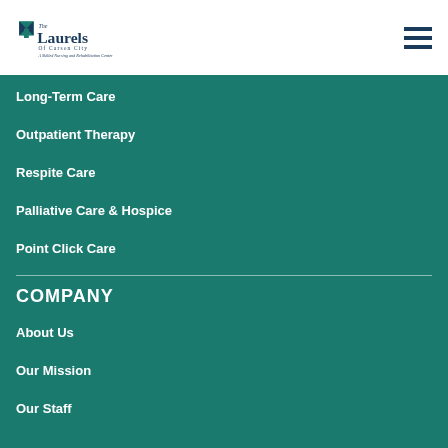[Figure (logo): The Laurels of Carson City - A Skilled Nursing and Rehabilitation Center logo with teal leaf mark and serif text]
Long-Term Care
Outpatient Therapy
Respite Care
Palliative Care & Hospice
Point Click Care
COMPANY
About Us
Our Mission
Our Staff